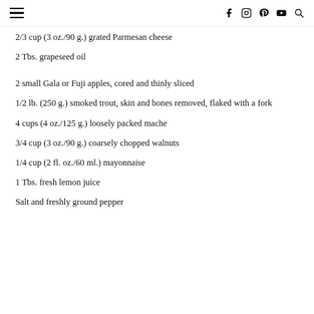Navigation header with hamburger menu and social icons (f, Instagram, Pinterest, YouTube, Search)
2/3 cup (3 oz./90 g.) grated Parmesan cheese
2 Tbs. grapeseed oil
2 small Gala or Fuji apples, cored and thinly sliced
1/2 lb. (250 g.) smoked trout, skin and bones removed, flaked with a fork
4 cups (4 oz./125 g.) loosely packed mache
3/4 cup (3 oz./90 g.) coarsely chopped walnuts
1/4 cup (2 fl. oz./60 ml.) mayonnaise
1 Tbs. fresh lemon juice
Salt and freshly ground pepper